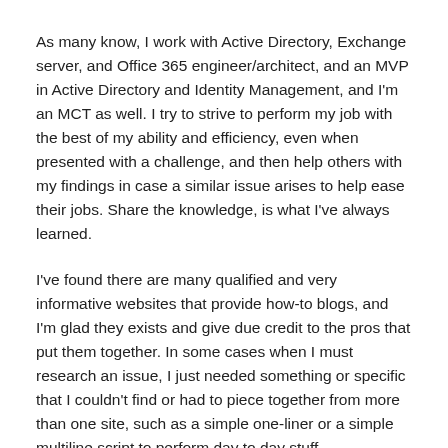As many know, I work with Active Directory, Exchange server, and Office 365 engineer/architect, and an MVP in Active Directory and Identity Management, and I'm an MCT as well. I try to strive to perform my job with the best of my ability and efficiency, even when presented with a challenge, and then help others with my findings in case a similar issue arises to help ease their jobs. Share the knowledge, is what I've always learned.
I've found there are many qualified and very informative websites that provide how-to blogs, and I'm glad they exists and give due credit to the pros that put them together. In some cases when I must research an issue, I just needed something or specific that I couldn't find or had to piece together from more than one site, such as a simple one-liner or a simple multiline script to perform day to day stuff.